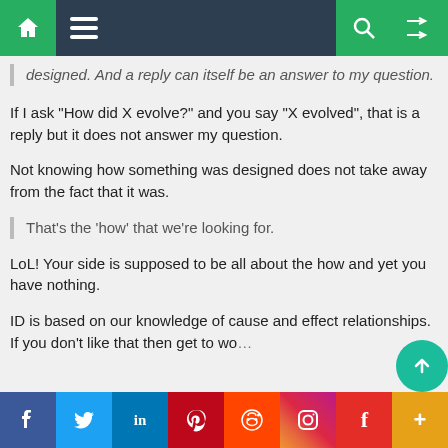Navigation bar with home, menu, search, and shuffle icons
designed. And a reply can itself be an answer to my question.
If I ask “How did X evolve?” and you say “X evolved”, that is a reply but it does not answer my question.
Not knowing how something was designed does not take away from the fact that it was.
That’s the ‘how’ that we’re looking for.
LoL! Your side is supposed to be all about the how and yet you have nothing.
ID is based on our knowledge of cause and effect relationships. If you don’t like that then get to wo…
Social share bar: Facebook, Twitter, LinkedIn, Pinterest, Reddit, Instagram, Flipboard, More